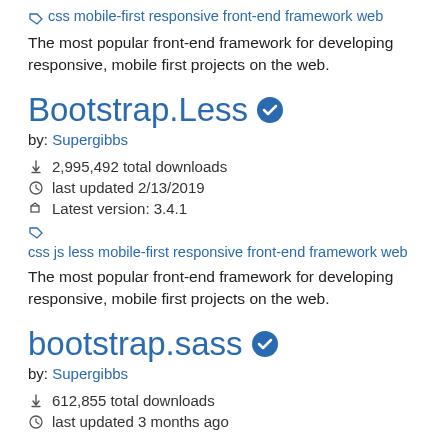css mobile-first responsive front-end framework web
The most popular front-end framework for developing responsive, mobile first projects on the web.
Bootstrap.Less
by: Supergibbs
2,995,492 total downloads
last updated 2/13/2019
Latest version: 3.4.1
css js less mobile-first responsive front-end framework web
The most popular front-end framework for developing responsive, mobile first projects on the web.
bootstrap.sass
by: Supergibbs
612,855 total downloads
last updated 3 months ago